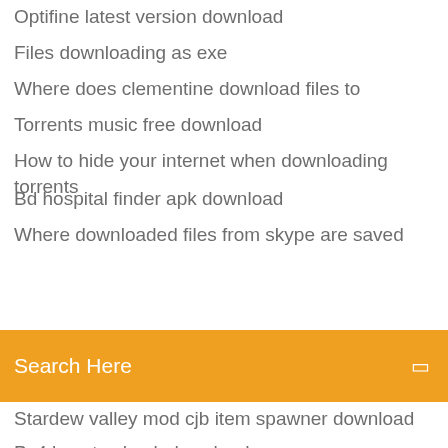Optifine latest version download
Files downloading as exe
Where does clementine download files to
Torrents music free download
How to hide your internet when downloading torrents
Bd hospital finder apk download
Where downloaded files from skype are saved
Search Here
Stardew valley mod cjb item spawner download
Ps4 how to check download
Download munuly scan driver for windows 7
What is the latest version of download helper
Blueprint ferry corsten free download torrent
Sony smart tv how to download apps
Android download file from browser
Minecraft 1.13 download light overlay
How to extend browser download
Javascript download s3 file with log in